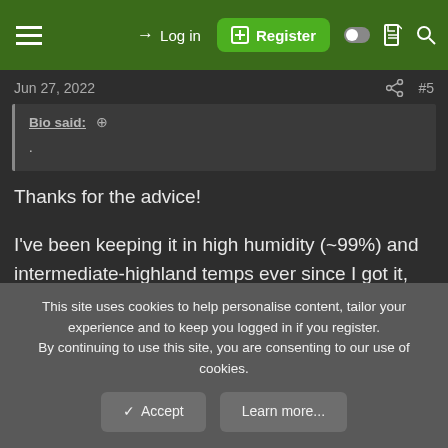Log in | Register
Jun 27, 2022  #5
Bio said: ↑
.
Thanks for the advice!
I've been keeping it in high humidity (~99%) and intermediate-highland temps ever since I got it, and I will keep it that way for about 10 more days until I see growth, which would mean the plant is okay(hopefully).
This site uses cookies to help personalise content, tailor your experience and to keep you logged in if you register.
By continuing to use this site, you are consenting to our use of cookies.
Accept  Learn more...